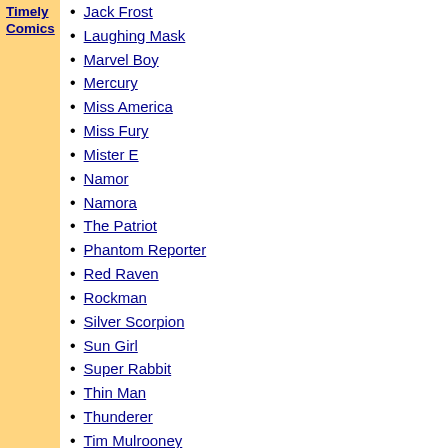Timely Comics
Jack Frost
Laughing Mask
Marvel Boy
Mercury
Miss America
Miss Fury
Mister E
Namor
Namora
The Patriot
Phantom Reporter
Red Raven
Rockman
Silver Scorpion
Sun Girl
Super Rabbit
Thin Man
Thunderer
Tim Mulrooney
Toro
Venus
The Vision
The Whizzer
Robert Frank
The Witness
Young Allies